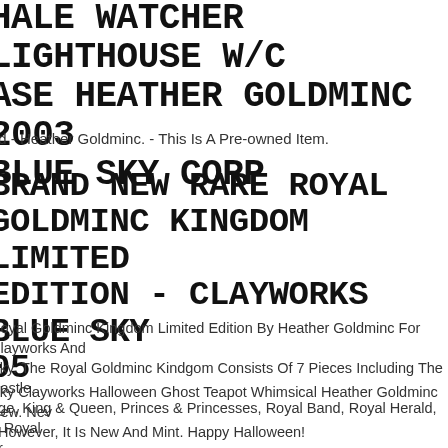HALE WATCHER LIGHTHOUSE W/CASE HEATHER GOLDMINC 2003 BLUE SKY CORP
ed - Heather Goldminc. - This Is A Pre-owned Item.
BRAND NEW RARE ROYAL GOLDMINC KINGDOM LIMITED EDITION - CLAYWORKS BLUE SKY 05
Royal Goldminc Kingdom Limited Edition By Heather Goldminc For Clayworks And Sky. The Royal Goldminc Kindgom Consists Of 7 Pieces Including The Castle, age, King & Queen, Princes & Princesses, Royal Band, Royal Herald, & Royal er.
Sky Clayworks Halloween Ghost Teapot Whimsical Heather Goldminc New. New . However, It Is New And Mint. Happy Halloween!
Sky Clayworks Halloween Pumpkin Black Cat Tealight Candle Holder Goldminc.
Sky Clayworks The Cuddle Bear Cottage By Heather Goldminc Retired. By Heather Goldminc Retired. Display Only, Never Handled.